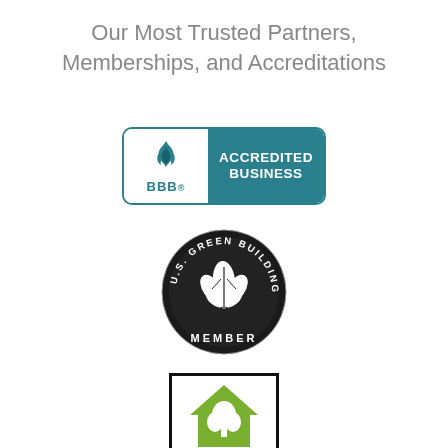Our Most Trusted Partners, Memberships, and Accreditations
[Figure (logo): BBB Accredited Business badge - teal colored with BBB flame logo on left white section and 'ACCREDITED BUSINESS' text in white on teal right section]
[Figure (logo): U.S. Green Building Council Member circular badge - black circle with leaf/plant emblem and 'U.S. GREEN BUILDING' text around top arc and 'MEMBER' text at bottom]
[Figure (logo): LEED for Homes logo - black bordered rectangle with green house icon and 'LEED FOR HOMES' text at bottom]